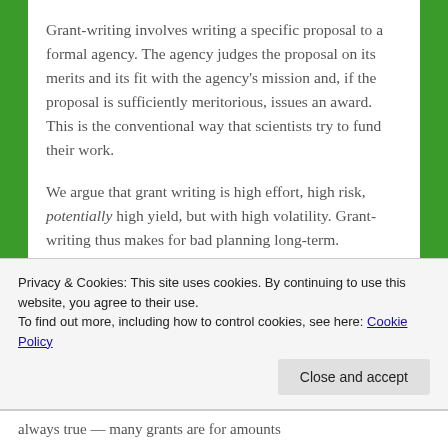Grant-writing involves writing a specific proposal to a formal agency. The agency judges the proposal on its merits and its fit with the agency's mission and, if the proposal is sufficiently meritorious, issues an award. This is the conventional way that scientists try to fund their work.
We argue that grant writing is high effort, high risk, potentially high yield, but with high volatility. Grant-writing thus makes for bad planning long-term.
Strengths
Privacy & Cookies: This site uses cookies. By continuing to use this website, you agree to their use. To find out more, including how to control cookies, see here: Cookie Policy
always true — many grants are for amounts